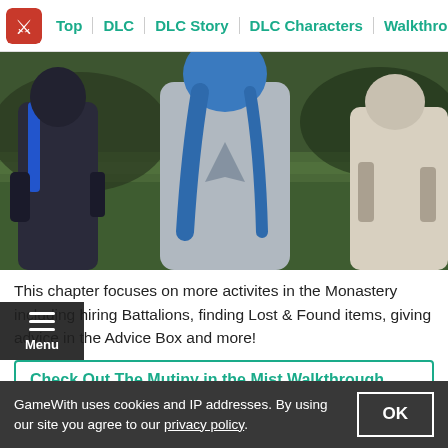Top | DLC | DLC Story | DLC Characters | Walkthrough
[Figure (screenshot): Game screenshot showing anime-style characters from behind standing in a grassy outdoor area. Center character has blue hair and a grey cloak. Characters on left and right in armor.]
This chapter focuses on more activites in the Monastery including hiring Battalions, finding Lost & Found items, giving advice in the Advice Box and more!
Check Out The Mutiny in the Mist Walkthrough Here
Events In Mutiny in the Mist
GameWith uses cookies and IP addresses. By using our site you agree to our privacy policy.